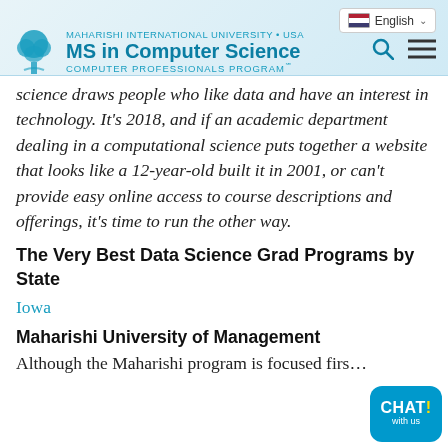MAHARISHI INTERNATIONAL UNIVERSITY • USA | MS in Computer Science | COMPUTER PROFESSIONALS PROGRAM℠
science draws people who like data and have an interest in technology. It's 2018, and if an academic department dealing in a computational science puts together a website that looks like a 12-year-old built it in 2001, or can't provide easy online access to course descriptions and offerings, it's time to run the other way.
The Very Best Data Science Grad Programs by State
Iowa
Maharishi University of Management
Although the Maharishi program is focused firs…